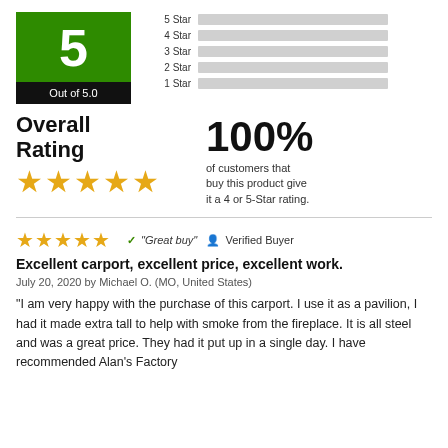[Figure (infographic): Rating score box showing '5' in green and 'Out of 5.0' in black, with horizontal bar chart showing 5-Star to 1-Star distribution (all bars are grey/empty)]
Overall Rating
[Figure (infographic): Five orange stars representing the overall rating]
100% of customers that buy this product give it a 4 or 5-Star rating.
[Figure (infographic): Five orange stars for the review rating]
✓ "Great buy"  👤 Verified Buyer
Excellent carport, excellent price, excellent work.
July 20, 2020 by Michael O. (MO, United States)
"I am very happy with the purchase of this carport. I use it as a pavilion, I had it made extra tall to help with smoke from the fireplace. It is all steel and was a great price. They had it put up in a single day. I have recommended Alan's Factory